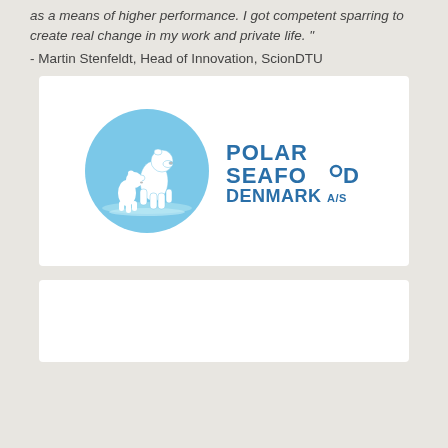as a means of higher performance. I got competent sparring to create real change in my work and private life. "
- Martin Stenfeldt, Head of Innovation, ScionDTU
[Figure (logo): Polar Seafood Denmark A/S logo: a light blue circle with two white polar bears, accompanied by the text 'POLAR SEAFOOD DENMARK A/S' in blue.]
[Figure (other): White rectangular box, partially visible at the bottom of the page.]